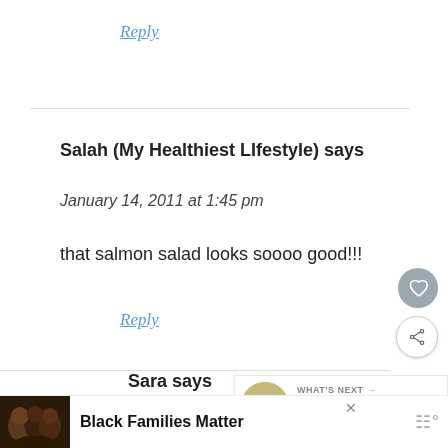Reply
Salah (My Healthiest LIfestyle) says
January 14, 2011 at 1:45 pm
that salmon salad looks soooo good!!!
Reply
WHAT'S NEXT → Cinnamon + Cayenne
Sara says
Black Families Matter